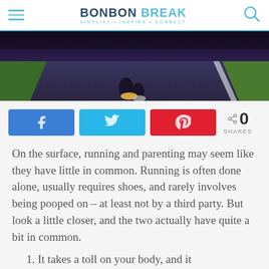BONBON BREAK — SIMPLIFY • INSPIRE • CONNECT
[Figure (photo): Runner's feet on a road, shot from behind, dark pavement with a white line on the right side, green grass visible in background]
[Figure (infographic): Social share buttons: Facebook (blue), Twitter (cyan), Pinterest (red), and a share count showing 0 SHARES]
On the surface, running and parenting may seem like they have little in common. Running is often done alone, usually requires shoes, and rarely involves being pooped on – at least not by a third party. But look a little closer, and the two actually have quite a bit in common.
1. It takes a toll on your body, and it